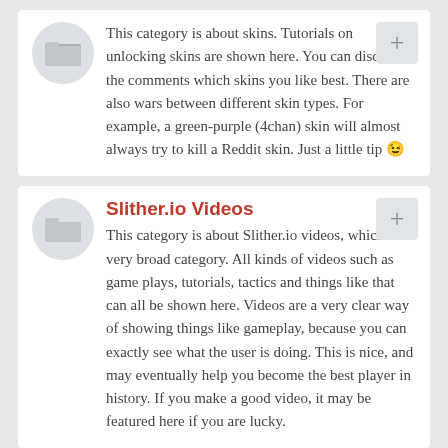This category is about skins. Tutorials on unlocking skins are shown here. You can discuss in the comments which skins you like best. There are also wars between different skin types. For example, a green-purple (4chan) skin will almost always try to kill a Reddit skin. Just a little tip 😉
Slither.io Videos
This category is about Slither.io videos, which is a very broad category. All kinds of videos such as game plays, tutorials, tactics and things like that can all be shown here. Videos are a very clear way of showing things like gameplay, because you can exactly see what the user is doing. This is nice, and may eventually help you become the best player in history. If you make a good video, it may be featured here if you are lucky.
Slither.io Clans
Slither.io Clans, teams and wars. Slither.io Clan Wars Plan & Arrange clan wars - meet your opponents. Slit...